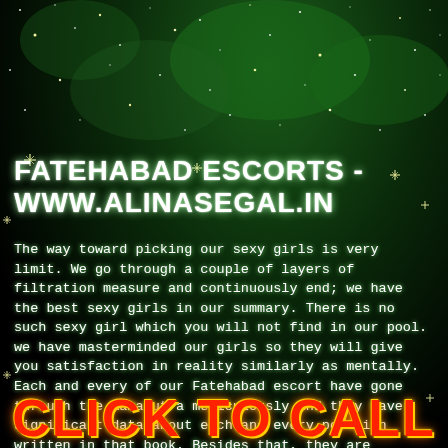[Figure (illustration): Dark starry night sky background with green nebula-like glow and scattered yellow/white star sparkles]
FATEHABAD ESCORTS - WWW.ALINASEGAL.IN
The way toward picking our sexy girls is very limit. We go through a couple of layers of filtration measure and continuously end; we have the best sexy girls in our summary. There is no such sexy girl which you will not find in our pool. we have masterminded our girls so they will give you satisfaction in reality similarly as mentally. Each and every of our Fatehabad escort have gone through the Kamasutra meticulously and they have significant data about each and every position written in that book. Besides that, they are astounding telepaths too. They know
CLICK TO CALL